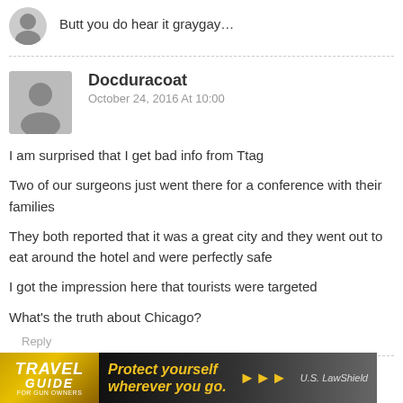Butt you do hear it graygay…
Docduracoat
October 24, 2016 At 10:00
I am surprised that I get bad info from Ttag
Two of our surgeons just went there for a conference with their families
They both reported that it was a great city and they went out to eat around the hotel and were perfectly safe
I got the impression here that tourists were targeted
What's the truth about Chicago?
Reply
strych9
[Figure (infographic): Travel Guide for Gun Owners advertisement banner with text 'Protect yourself wherever you go.' and arrows, featuring U.S. LawShield branding]